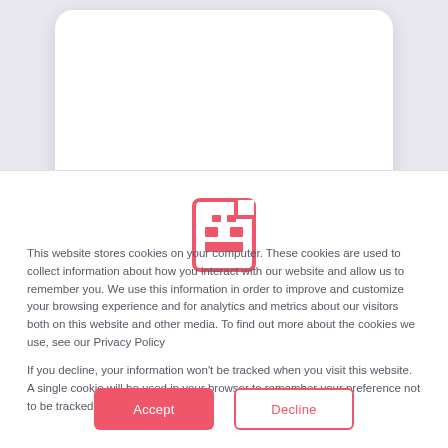[Figure (illustration): Cookie/storage icon in coral/red-pink color showing a SIM card or document with grid pattern]
This website stores cookies on your computer. These cookies are used to collect information about how you interact with our website and allow us to remember you. We use this information in order to improve and customize your browsing experience and for analytics and metrics about our visitors both on this website and other media. To find out more about the cookies we use, see our Privacy Policy
If you decline, your information won't be tracked when you visit this site. A single cookie will be used in your browser to remember your preference not to be tracked.
Accept
Decline